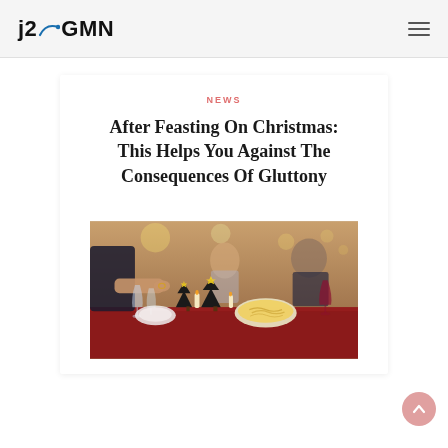j2GMN
NEWS
After Feasting On Christmas: This Helps You Against The Consequences Of Gluttony
[Figure (photo): Photo of a Christmas dinner table with festive decorations, candles shaped as Christmas trees, food including pasta/noodles, wine glasses, and people in background]